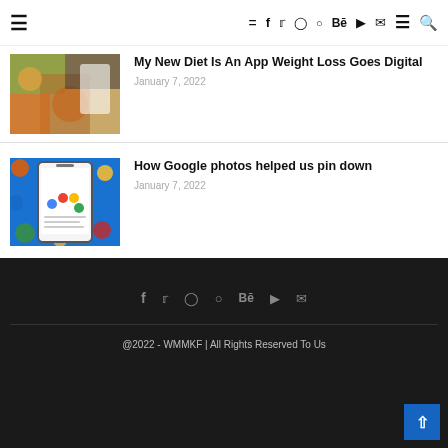≡  f  🐦  📷  Pinterest  Bē  ▶  ✉  ≡  🔍
[Figure (photo): Partially visible article thumbnail showing produce/groceries and a phone]
My New Diet Is An App Weight Loss Goes Digital
January 7, 2022
[Figure (photo): Thumbnail showing a white smartphone displaying Google Assistant colorful dot logo on a blue polka-dot background]
How Google photos helped us pin down
January 7, 2022
f  🐦  📷  Pinterest  Bē  ▶  ✉
@2022 - WMMKF | All Rights Reserved To Us